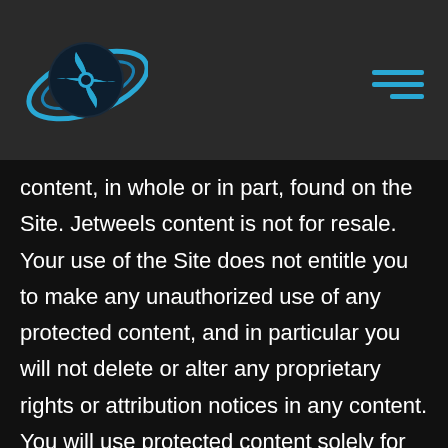[Figure (logo): Jetweels logo: a turbine/jet engine icon with blue orbital ring on dark background]
content, in whole or in part, found on the Site. Jetweels content is not for resale. Your use of the Site does not entitle you to make any unauthorized use of any protected content, and in particular you will not delete or alter any proprietary rights or attribution notices in any content. You will use protected content solely for your personal use, and will make no other use of the content without the express written permission of Jetweels and the copyright owner. You agree that you do not acquire